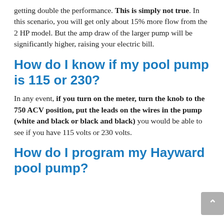getting double the performance. This is simply not true. In this scenario, you will get only about 15% more flow from the 2 HP model. But the amp draw of the larger pump will be significantly higher, raising your electric bill.
How do I know if my pool pump is 115 or 230?
In any event, if you turn on the meter, turn the knob to the 750 ACV position, put the leads on the wires in the pump (white and black or black and black) you would be able to see if you have 115 volts or 230 volts.
How do I program my Hayward pool pump?